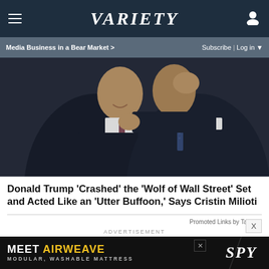Variety
Media Business in a Bear Market >     Subscribe | Log in
[Figure (photo): Two men in suits greeting or embracing, shot from below at an angle, one smiling, in a dark formal setting]
Donald Trump ‘Crashed’ the ‘Wolf of Wall Street’ Set and Acted Like an ‘Utter Buffoon,’ Says Cristin Milioti
Promoted Links by Taboola
ADVERTISEMENT
[Figure (screenshot): Advertisement banner with yellow/blue gradient background showing a tablet device, with X close button]
[Figure (photo): Bottom advertisement banner: MEET AIRWEAVE in yellow bold text, MODULAR, WASHABLE MATTRESS subtitle, SPY logo in italic on dark background]